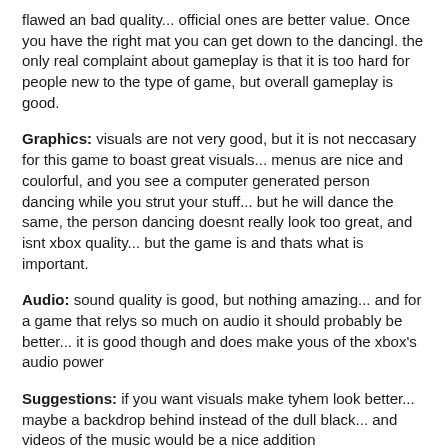flawed an bad quality... official ones are better value. Once you have the right mat you can get down to the dancingl. the only real complaint about gameplay is that it is too hard for people new to the type of game, but overall gameplay is good.
Graphics: visuals are not very good, but it is not neccasary for this game to boast great visuals... menus are nice and coulorful, and you see a computer generated person dancing while you strut your stuff... but he will dance the same, the person dancing doesnt really look too great, and isnt xbox quality... but the game is and thats what is important.
Audio: sound quality is good, but nothing amazing... and for a game that relys so much on audio it should probably be better... it is good though and does make yous of the xbox's audio power
Suggestions: if you want visuals make tyhem look better... maybe a backdrop behind instead of the dull black... and videos of the music would be a nice addition